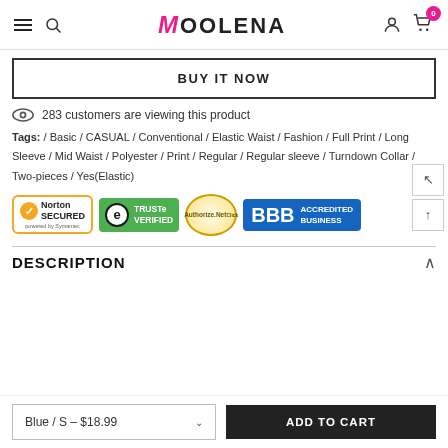Moolena — navigation header with hamburger, search, logo, user icon, cart (0)
BUY IT NOW
283 customers are viewing this product
Tags: / Basic / CASUAL / Conventional / Elastic Waist / Fashion / Full Print / Long Sleeve / Mid Waist / Polyester / Print / Regular / Regular sleeve / Turndown Collar / Two-pieces / Yes(Elastic)
[Figure (logo): Trust badges: Norton Secured (powered by Symantec), TRUSTe Verified, Authorize.Net, BBB Accredited Business]
DESCRIPTION
Blue / S - $18.99   ADD TO CART